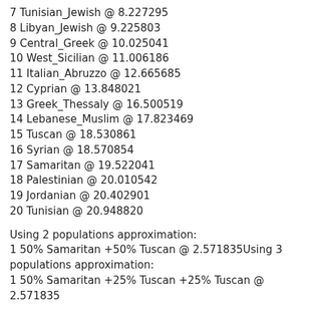7 Tunisian_Jewish @ 8.227295
8 Libyan_Jewish @ 9.225803
9 Central_Greek @ 10.025041
10 West_Sicilian @ 11.006186
11 Italian_Abruzzo @ 12.665685
12 Cyprian @ 13.848021
13 Greek_Thessaly @ 16.500519
14 Lebanese_Muslim @ 17.823469
15 Tuscan @ 18.530861
16 Syrian @ 18.570854
17 Samaritan @ 19.522041
18 Palestinian @ 20.010542
19 Jordanian @ 20.402901
20 Tunisian @ 20.948820
Using 2 populations approximation:
1 50% Samaritan +50% Tuscan @ 2.571835Using 3 populations approximation:
1 50% Samaritan +25% Tuscan +25% Tuscan @ 2.571835
Using 4 populations approximation:
++++++++++++++++++++++++++++++++++++++++++++++++++++++++++++++++++++++++++++++
1 Ashkenazi + Samaritan + Sephardic_Jewish + Tuscan @